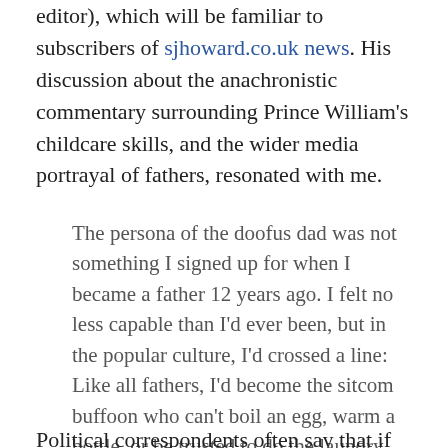editor), which will be familiar to subscribers of sjhoward.co.uk news. His discussion about the anachronistic commentary surrounding Prince William's childcare skills, and the wider media portrayal of fathers, resonated with me.
The persona of the doofus dad was not something I signed up for when I became a father 12 years ago. I felt no less capable than I'd ever been, but in the popular culture, I'd crossed a line: Like all fathers, I'd become the sitcom buffoon who can't boil an egg, warm a bottle, or be trusted to do the laundry without neglecting to add detergent and then exclaiming afterwards, “So that’s what that bottle of blue stuff was!”
Political correspondents often say that if they